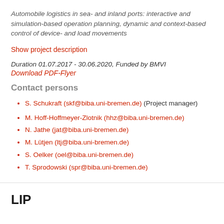Automobile logistics in sea- and inland ports: interactive and simulation-based operation planning, dynamic and context-based control of device- and load movements
Show project description
Duration 01.07.2017 - 30.06.2020, Funded by BMVI
Download PDF-Flyer
Contact persons
S. Schukraft (skf@biba.uni-bremen.de) (Project manager)
M. Hoff-Hoffmeyer-Zlotnik (hhz@biba.uni-bremen.de)
N. Jathe (jat@biba.uni-bremen.de)
M. Lütjen (ltj@biba.uni-bremen.de)
S. Oelker (oel@biba.uni-bremen.de)
T. Sprodowski (spr@biba.uni-bremen.de)
LIP